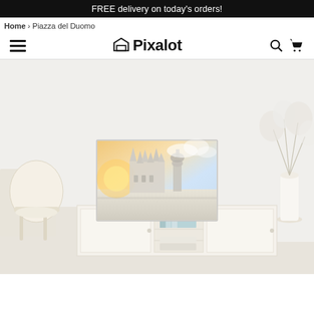FREE delivery on today's orders!
Home › Piazza del Duomo
[Figure (logo): Pixalot logo with hamburger menu, search and cart icons in a navigation bar]
[Figure (photo): Product lifestyle photo showing a canvas print of Piazza del Duomo (Milan cathedral at sunset) mounted on a wall above a white sideboard/credenza in a modern living room, with a wooden chair on the left and a white vase with flowers on the right]